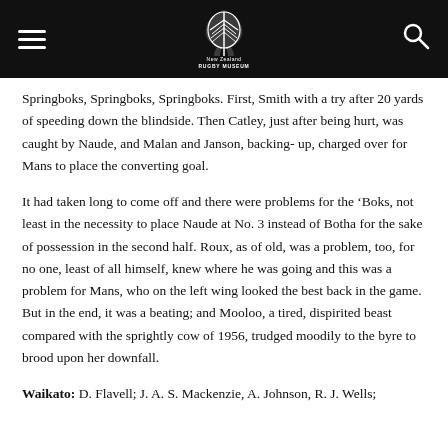New Zealand Rugby Museum [logo] [hamburger menu] [search icon]
Springboks, Springboks, Springboks. First, Smith with a try after 20 yards of speeding down the blindside. Then Catley, just after being hurt, was caught by Naude, and Malan and Janson, backing- up, charged over for Mans to place the converting goal.
It had taken long to come off and there were problems for the ‘Boks, not least in the necessity to place Naude at No. 3 instead of Botha for the sake of possession in the second half. Roux, as of old, was a problem, too, for no one, least of all himself, knew where he was going and this was a problem for Mans, who on the left wing looked the best back in the game. But in the end, it was a beating; and Mooloo, a tired, dispirited beast compared with the sprightly cow of 1956, trudged moodily to the byre to brood upon her downfall.
Waikato: D. Flavell; J. A. S. Mackenzie, A. Johnson, R. J. Wells;